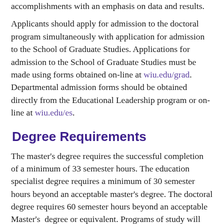accomplishments with an emphasis on data and results.
Applicants should apply for admission to the doctoral program simultaneously with application for admission to the School of Graduate Studies. Applications for admission to the School of Graduate Studies must be made using forms obtained on-line at wiu.edu/grad. Departmental admission forms should be obtained directly from the Educational Leadership program or on-line at wiu.edu/es.
Degree Requirements
The master's degree requires the successful completion of a minimum of 33 semester hours. The education specialist degree requires a minimum of 30 semester hours beyond an acceptable master's degree. The doctoral degree requires 60 semester hours beyond an acceptable Master's degree or equivalent. Programs of study will require additional hours if administrative